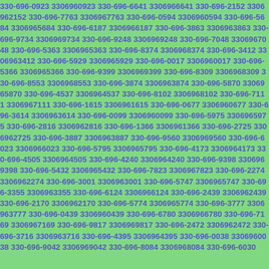330-696-0923 3306960923 330-696-6641 3306966641 330-696-2152 3306962152 330-696-7763 3306967763 330-696-0594 3306960594 330-696-5684 3306965684 330-696-6187 3306966187 330-696-3863 3306963863 330-696-9734 3306969734 330-696-9248 3306969248 330-696-7048 3306967048 330-696-5363 3306965363 330-696-8374 3306968374 330-696-3412 3306963412 330-696-5929 3306965929 330-696-0017 3306960017 330-696-5366 3306965366 330-696-9399 3306969399 330-696-8309 3306968309 330-696-8553 3306968553 330-696-3874 3306963874 330-696-5870 3306965870 330-696-4537 3306964537 330-696-8102 3306968102 330-696-7111 3306967111 330-696-1615 3306961615 330-696-0677 3306960677 330-696-3614 3306963614 330-696-0099 3306960099 330-696-5975 3306965975 330-696-2816 3306962816 330-696-1366 3306961366 330-696-2725 3306962725 330-696-3887 3306963887 330-696-9560 3306969560 330-696-6023 3306966023 330-696-5795 3306965795 330-696-4173 3306964173 330-696-4505 3306964505 330-696-4240 3306964240 330-696-9398 3306969398 330-696-5432 3306965432 330-696-7823 3306967823 330-696-2274 3306962274 330-696-3001 3306963001 330-696-5747 3306965747 330-696-3355 3306963355 330-696-6124 3306966124 330-696-2439 3306962439 330-696-2170 3306962170 330-696-5774 3306965774 330-696-3777 3306963777 330-696-0439 3306960439 330-696-6780 3306966780 330-696-7169 3306967169 330-696-9817 3306969817 330-696-2472 3306962472 330-696-3716 3306963716 330-696-4395 3306964395 330-696-0038 3306960038 330-696-9042 3306969042 330-696-8084 3306968084 330-696-6030